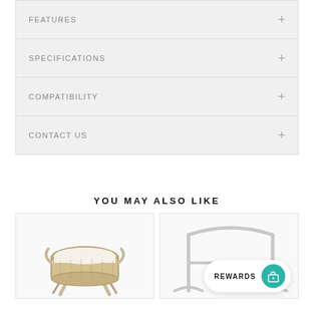FEATURES
SPECIFICATIONS
COMPATIBILITY
CONTACT US
YOU MAY ALSO LIKE
[Figure (photo): Wicker moses basket on a folding wooden stand with white/natural fabric lining]
[Figure (photo): White wooden baby bassinet stand, partial view]